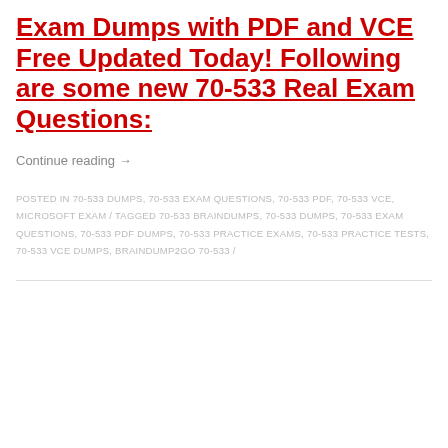Exam Dumps with PDF and VCE Free Updated Today! Following are some new 70-533 Real Exam Questions:
Continue reading →
POSTED IN 70-533 DUMPS, 70-533 EXAM QUESTIONS, 70-533 PDF, 70-533 VCE, MICROSOFT EXAM / TAGGED 70-533 BRAINDUMPS, 70-533 DUMPS, 70-533 EXAM QUESTIONS, 70-533 PDF DUMPS, 70-533 PRACTICE EXAMS, 70-533 PRACTICE TESTS, 70-533 VCE DUMPS, BRAINDUMP2GO 70-533 /